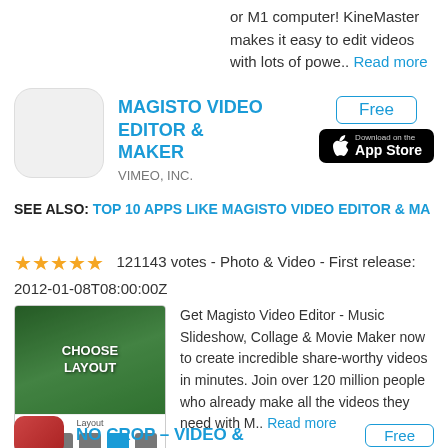or M1 computer! KineMaster makes it easy to edit videos with lots of powe.. Read more
MAGISTO VIDEO EDITOR & MAKER
VIMEO, INC.
Free – Download on the App Store
SEE ALSO: TOP 10 APPS LIKE MAGISTO VIDEO EDITOR & MA
★★★★★  121143 votes - Photo & Video - First release: 2012-01-08T08:00:00Z
[Figure (screenshot): App screenshot showing 'CHOOSE LAYOUT' screen with a woman posing with a ball on grass, and layout options below]
Get Magisto Video Editor - Music Slideshow, Collage & Movie Maker now to create incredible share-worthy videos in minutes. Join over 120 million people who already make all the videos they need with M.. Read more
NO CROP – VIDEO &
Free